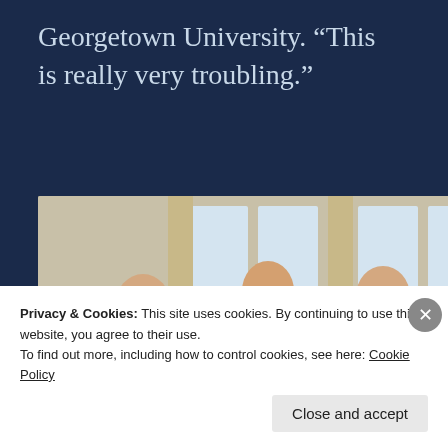Georgetown University. “This is really very troubling.”
[Figure (photo): Six pediatricians seated in two rows in a formal indoor setting, posing for a group photo.]
Six pediatricians from across Florida gathered to tell CNN their
Privacy & Cookies: This site uses cookies. By continuing to use this website, you agree to their use.
To find out more, including how to control cookies, see here: Cookie Policy
Close and accept